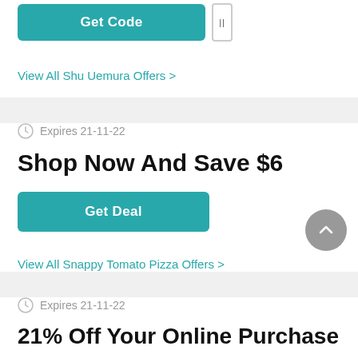[Figure (screenshot): Teal 'Get Code' button with a small code reveal box beside it]
View All Shu Uemura Offers >
Expires 21-11-22
Shop Now And Save $6
[Figure (screenshot): Teal 'Get Deal' button]
View All Snappy Tomato Pizza Offers >
Expires 21-11-22
21% Off Your Online Purchase